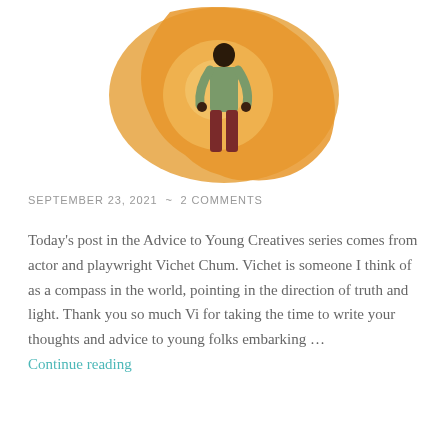[Figure (illustration): Illustration of a person standing in front of an orange/yellow map of Africa, viewed from behind, wearing a green shirt and dark red pants]
SEPTEMBER 23, 2021  ~  2 COMMENTS
Today's post in the Advice to Young Creatives series comes from actor and playwright Vichet Chum. Vichet is someone I think of as a compass in the world, pointing in the direction of truth and light. Thank you so much Vi for taking the time to write your thoughts and advice to young folks embarking … Continue reading